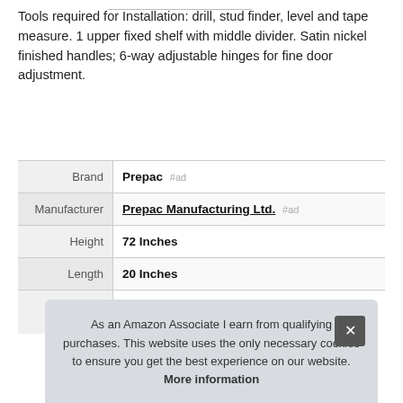Tools required for Installation: drill, stud finder, level and tape measure. 1 upper fixed shelf with middle divider. Satin nickel finished handles; 6-way adjustable hinges for fine door adjustment.
|  |  |
| --- | --- |
| Brand | Prepac #ad |
| Manufacturer | Prepac Manufacturing Ltd. #ad |
| Height | 72 Inches |
| Length | 20 Inches |
As an Amazon Associate I earn from qualifying purchases. This website uses the only necessary cookies to ensure you get the best experience on our website. More information